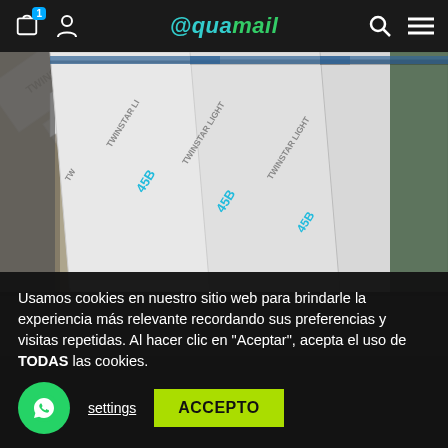@quamail — navigation bar with bag (1), person, logo, search, menu
[Figure (photo): Multiple TWINSTAR LIGHT 45B product boxes arranged diagonally on a tiled floor, photographed from above]
[Figure (photo): Partially visible second product image with dark/black background]
Usamos cookies en nuestro sitio web para brindarle la experiencia más relevante recordando sus preferencias y visitas repetidas. Al hacer clic en "Aceptar", acepta el uso de TODAS las cookies.
settings  ACCEPTO